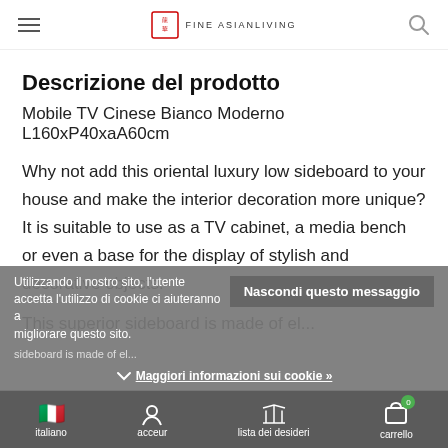Fine Asian Living
Descrizione del prodotto
Mobile TV Cinese Bianco Moderno L160xP40xaA60cm
Why not add this oriental luxury low sideboard to your house and make the interior decoration more unique? It is suitable to use as a TV cabinet, a media bench or even a base for the display of stylish and decorative objects.
Utilizzando il nostro sito, l'utente accetta l'utilizzo di cookie ci aiuteranno a migliorare questo sito.
sideboard is made of el...
Nascondi questo messaggio
Maggiori informazioni sui cookie »
italiano | acceur | lista dei desideri | carrello